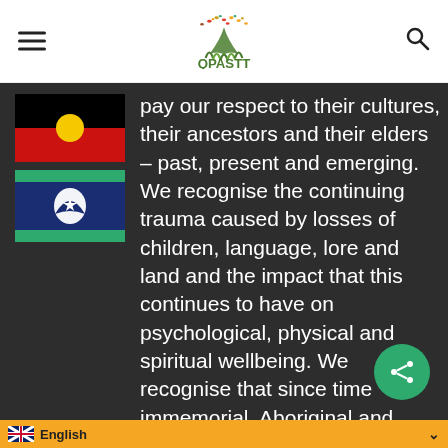QPASTT
[Figure (illustration): Aboriginal flag with black top half, red bottom half, and yellow circle in center]
[Figure (illustration): Torres Strait Islander flag with blue field, green horizontal stripes top and bottom, white dhari (headdress) and star in center]
pay our respect to their cultures, their ancestors and their elders – past, present and emerging. We recognise the continuing trauma caused by losses of children, language, lore and land and the impact that this continues to have on psychological, physical and spiritual wellbeing. We recognise that since time immemorial, Aboriginal and Torres Strait Islander peoples have nurtured communities of belonging and thriving and we work in solidarity towards a future of healing and justice.
English